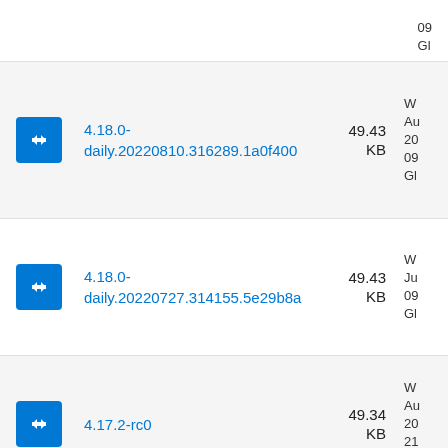4.18.0-daily.20220810.316289.1a0f400 49.43 KB
4.18.0-daily.20220727.314155.5e29b8a 49.43 KB
4.17.2-rc0 49.34 KB